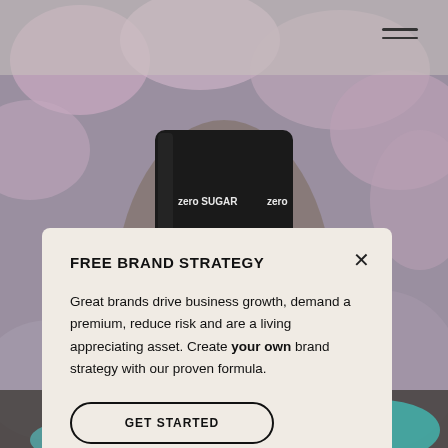[Figure (photo): Background photo of a hand holding a Coca-Cola Zero Sugar can against a blurred floral background. Top area shows a navigation bar with a hamburger menu icon.]
FREE BRAND STRATEGY
Great brands drive business growth, demand a premium, reduce risk and are a living appreciating asset. Create your own brand strategy with our proven formula.
GET STARTED